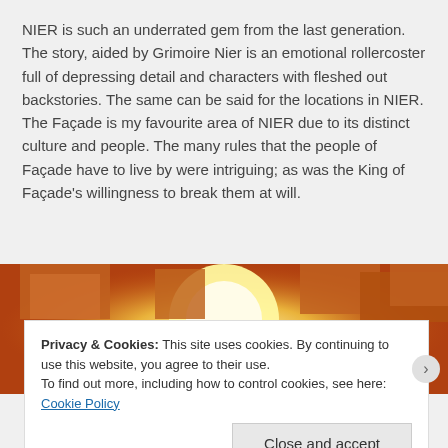NIER is such an underrated gem from the last generation. The story, aided by Grimoire Nier is an emotional rollercoster full of depressing detail and characters with fleshed out backstories. The same can be said for the locations in NIER. The Façade is my favourite area of NIER due to its distinct culture and people. The many rules that the people of Façade have to live by were intriguing; as was the King of Façade's willingness to break them at will.
[Figure (other): Large stylized number '6' in pink/salmon color]
[Figure (photo): Photo of a sunset or bright light with silhouetted building shapes at top]
Privacy & Cookies: This site uses cookies. By continuing to use this website, you agree to their use.
To find out more, including how to control cookies, see here: Cookie Policy
Close and accept